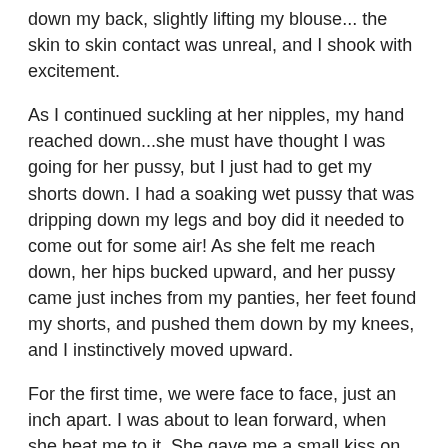down my back, slightly lifting my blouse... the skin to skin contact was unreal, and I shook with excitement.
As I continued suckling at her nipples, my hand reached down...she must have thought I was going for her pussy, but I just had to get my shorts down. I had a soaking wet pussy that was dripping down my legs and boy did it needed to come out for some air! As she felt me reach down, her hips bucked upward, and her pussy came just inches from my panties, her feet found my shorts, and pushed them down by my knees, and I instinctively moved upward.
For the first time, we were face to face, just an inch apart. I was about to lean forward, when she beat me to it. She gave me a small kiss on the lips, then another, and another. They began getting longer, and more passionate, and slowly, I lowered myself down onto her tiny body. I